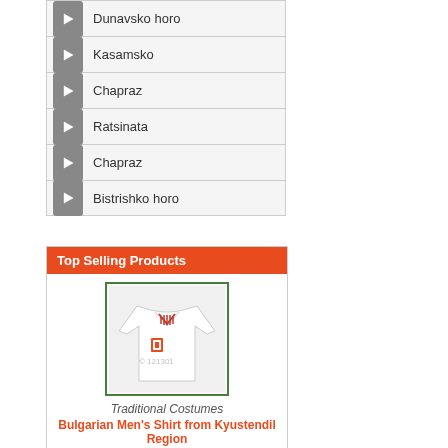Dunavsko horo
Kasamsko
Chapraz
Ratsinata
Chapraz
Bistrishko horo
Top Selling Products
[Figure (photo): White Bulgarian men's shirt with red embroidery from Kyustendil Region]
Traditional Costumes
Bulgarian Men's Shirt from Kyustendil Region
[Figure (photo): Red Bulgarian scarf/shawl with floral embroidery pattern]